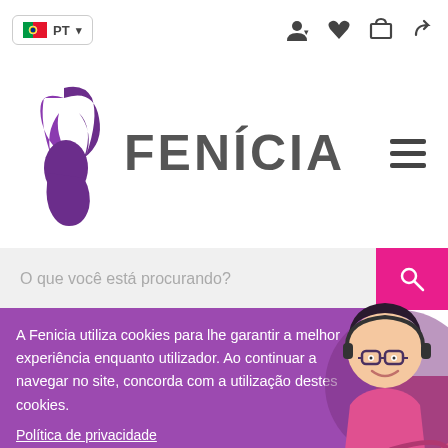[Figure (screenshot): Website header of Fenicia (Fenicia) with Portuguese language selector, nav icons, logo, search bar, and cookie consent banner.]
PT
FENICIA
O que você está procurando?
A Fenicia utiliza cookies para lhe garantir a melhor experiência enquanto utilizador. Ao continuar a navegar no site, concorda com a utilização destes cookies.
Política de privacidade
Entendi e aceito
SELECIONAR FILTROS